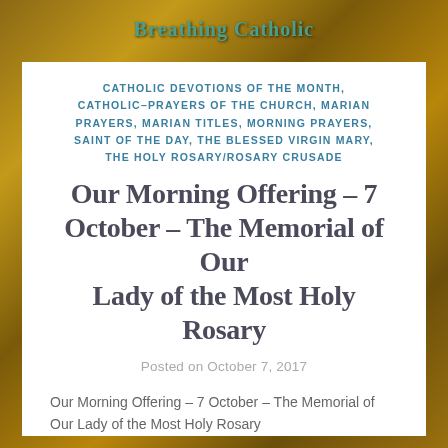Breathing Catholic
CATHOLIC DEVOTIONS OF THE MONTH, CATHOLIC–PRAYERS OF THE CHURCH, MARIAN PRAYERS, MARIAN TITLES, MORNING PRAYERS, SAINT OF THE DAY, THE BLESSED VIRGIN MARY, THE HOLY ROSARY/ROSARY CRUSADE
Our Morning Offering – 7 October – The Memorial of Our Lady of the Most Holy Rosary
Posted on October 7, 2017
Our Morning Offering – 7 October – The Memorial of Our Lady of the Most Holy Rosary